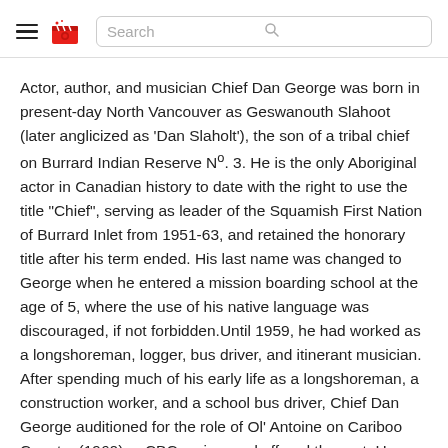Search
Actor, author, and musician Chief Dan George was born in present-day North Vancouver as Geswanouth Slahoot (later anglicized as 'Dan Slaholt'), the son of a tribal chief on Burrard Indian Reserve N°. 3. He is the only Aboriginal actor in Canadian history to date with the right to use the title "Chief", serving as leader of the Squamish First Nation of Burrard Inlet from 1951-63, and retained the honorary title after his term ended. His last name was changed to George when he entered a mission boarding school at the age of 5, where the use of his native language was discouraged, if not forbidden.Until 1959, he had worked as a longshoreman, logger, bus driver, and itinerant musician. After spending much of his early life as a longshoreman, a construction worker, and a school bus driver, Chief Dan George auditioned for the role of Ol' Antoine on Cariboo Country (1960), a CBC series, and offered the part. He made his screen debut at age 65. On the strength of his